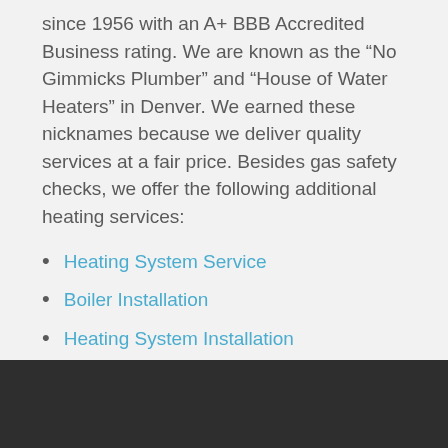since 1956 with an A+ BBB Accredited Business rating. We are known as the “No Gimmicks Plumber” and “House of Water Heaters” in Denver. We earned these nicknames because we deliver quality services at a fair price. Besides gas safety checks, we offer the following additional heating services:
Heating System Service
Boiler Installation
Heating System Installation
Boiler Service
Humidifiers